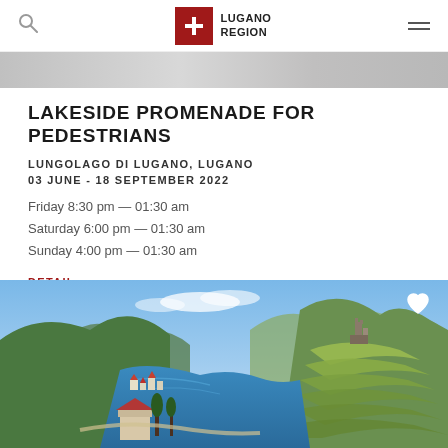Lugano Region
[Figure (photo): Top partial photo strip showing a blurred outdoor scene]
LAKESIDE PROMENADE FOR PEDESTRIANS
LUNGOLAGO DI LUGANO, LUGANO
03 JUNE - 18 SEPTEMBER 2022
Friday 8:30 pm — 01:30 am
Saturday 6:00 pm — 01:30 am
Sunday 4:00 pm — 01:30 am
DETAIL
[Figure (photo): Aerial photo of Lake Lugano region with terraced vineyards, a medieval castle ruin on a hillside, green mountains, blue lake, and a small village]